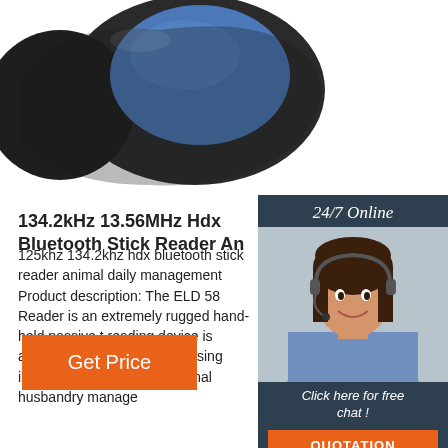[Figure (photo): Close-up of a black device with a large blue oval button/surface, resembling an RFID reader wristband or handheld device]
[Figure (photo): Customer service widget: '24/7 Online' header, photo of smiling woman with headset, 'Click here for free chat!' text, orange QUOTATION button]
134.2kHz 13.56MHz Hdx Bluetooth Stick Reader An
125khz 134.2khz hdx bluetooth stick reader animal daily management Product description: The ELD 58 Reader is an extremely rugged hand-held passive t reading device is according to the world increasing informationization of the animal husbandry manage
[Figure (other): Orange 'Get Price' button]
[Figure (other): Orange 'TOP' logo with dots arranged above the word TOP]